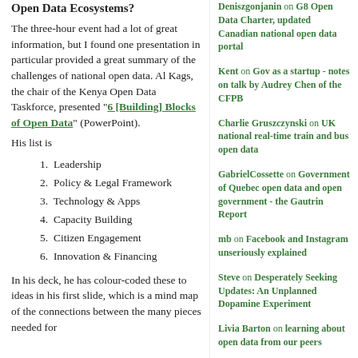Open Data Ecosystems?
The three-hour event had a lot of great information, but I found one presentation in particular provided a great summary of the challenges of national open data.  Al Kags, the chair of the Kenya Open Data Taskforce, presented "6 [Building] Blocks of Open Data" (PowerPoint).
His list is
1. Leadership
2. Policy & Legal Framework
3. Technology & Apps
4. Capacity Building
5. Citizen Engagement
6. Innovation & Financing
In his deck, he has colour-coded these to ideas in his first slide, which is a mind map of the connections between the many pieces needed for
Deniszgonjanin on G8 Open Data Charter, updated Canadian national open data portal
Kent on Gov as a startup - notes on talk by Audrey Chen of the CFPB
Charlie Gruszczynski on UK national real-time train and bus open data
GabrielCossette on Government of Quebec open data and open government - the Gautrin Report
mb on Facebook and Instagram unseriously explained
Steve on Desperately Seeking Updates: An Unplanned Dopamine Experiment
Livia Barton on learning about open data from our peers
Marknca on Twitter retweets - how to drink less from the firehose
RECENT POSTS
CSPC - Open Science and Research Security - June 21, 2022